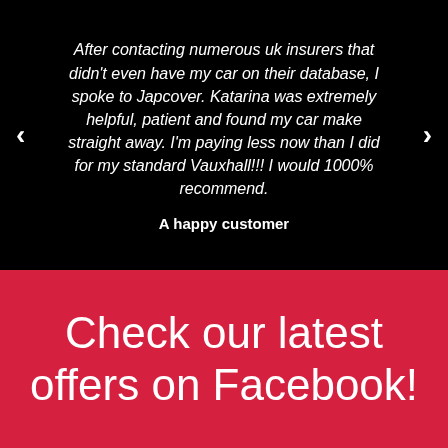After contacting numerous uk insurers that didn't even have my car on their database, I spoke to Japcover. Katarina was extremely helpful, patient and found my car make straight away. I'm paying less now than I did for my standard Vauxhall!!! I would 1000% recommend.
A happy customer
Check our latest offers on Facebook!